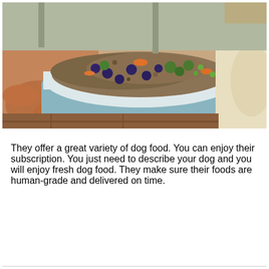[Figure (photo): A person's hand holding a blue and white ceramic bowl filled with fresh homemade dog food (ground meat, blueberries, broccoli, carrots, peas) toward a golden retriever dog whose nose and face are visible on the right side of the image. Wooden floor visible in background.]
They offer a great variety of dog food. You can enjoy their subscription. You just need to describe your dog and you will enjoy fresh dog food. They make sure their foods are human-grade and delivered on time.